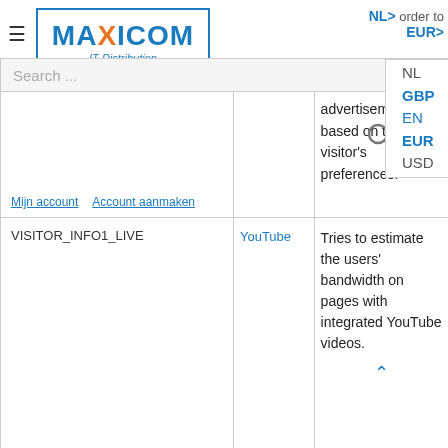[Figure (logo): Maxicom IT Distribution logo with blue border, orange X]
order to EUR >
Search ...
NL GBP EN EUR USD
advertisement based on the visitor's preferences.
Mijn account   Account aanmaken
|  | YouTube |  |
| --- | --- | --- |
| VISITOR_INFO1_LIVE | YouTube | Tries to estimate the users' bandwidth on pages with integrated YouTube videos. |
| YSC | YouTube | Registers a |